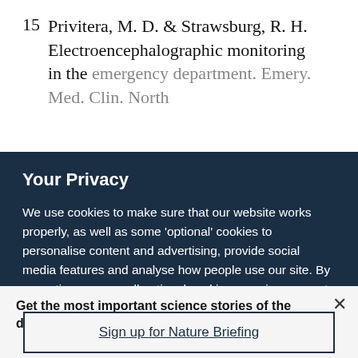15  Privitera, M. D. & Strawsburg, R. H. Electroencephalographic monitoring in the emergency department. Emerg. Med. Clin. North...
Your Privacy
We use cookies to make sure that our website works properly, as well as some 'optional' cookies to personalise content and advertising, provide social media features and analyse how people use our site. By accepting some or all optional cookies you give consent to the processing of your personal data, including transfer to third parties, some in countries outside of the European Economic Area that do not offer the same data protection standards as the country where you live. You can decide which optional cookies to accept by clicking on 'Manage Settings', where you can
Get the most important science stories of the day, free in your inbox.
Sign up for Nature Briefing